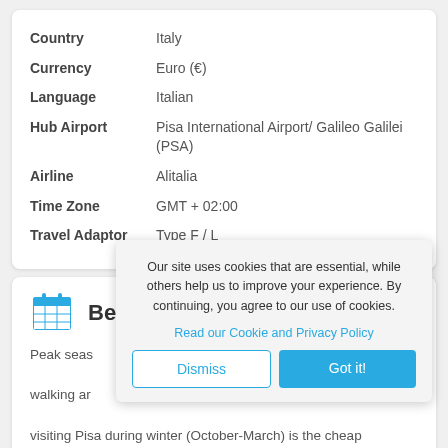| Label | Value |
| --- | --- |
| Country | Italy |
| Currency | Euro (€) |
| Language | Italian |
| Hub Airport | Pisa International Airport/ Galileo Galilei (PSA) |
| Airline | Alitalia |
| Time Zone | GMT + 02:00 |
| Travel Adaptor | Type F / L |
Bes[t Time to Visit]
Peak seas[on...] hot, summ[er...] city. You'll [...] walking ar[ound...] see tempe[ratures...] visiting Pisa during winter (October-March) is the cheap
Our site uses cookies that are essential, while others help us to improve your experience. By continuing, you agree to our use of cookies.
Read our Cookie and Privacy Policy
Dismiss
Got it!